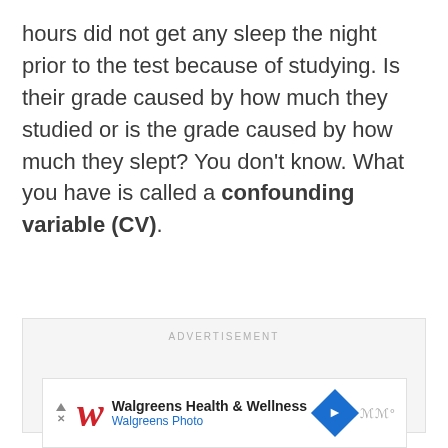hours did not get any sleep the night prior to the test because of studying. Is their grade caused by how much they studied or is the grade caused by how much they slept? You don't know. What you have is called a confounding variable (CV).
[Figure (other): Advertisement placeholder box with 'ADVERTISEMENT' label centered at top, three navigation dots below, and a Walgreens Health & Wellness banner at the bottom.]